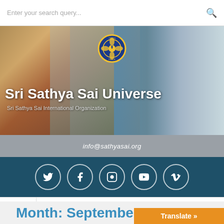Enter your search query...
[Figure (photo): Sri Sathya Sai Universe website banner with photos of Sai Baba, volunteers helping elderly, a logo emblem, and a smiling girl. Text reads: Sri Sathya Sai Universe, Sri Sathya Sai International Organization]
info@sathyasai.org
[Figure (infographic): Social media icons row: Twitter, Facebook, Instagram, YouTube, Vimeo — white circle outlines on dark teal background]
≡  Menu
Month: September 2019
Translate »